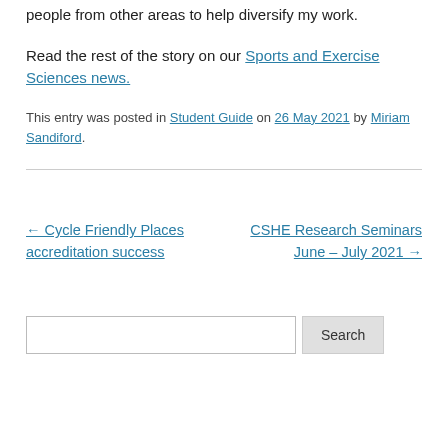people from other areas to help diversify my work.
Read the rest of the story on our Sports and Exercise Sciences news.
This entry was posted in Student Guide on 26 May 2021 by Miriam Sandiford.
← Cycle Friendly Places accreditation success
CSHE Research Seminars June – July 2021 →
Search